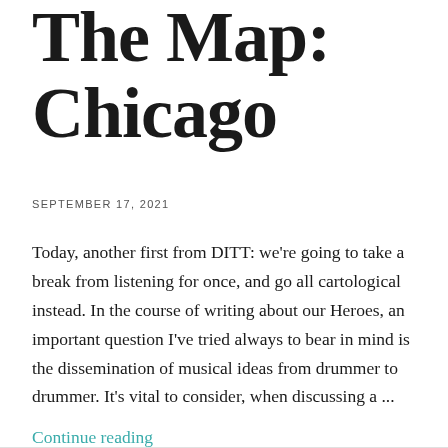The Map: Chicago
SEPTEMBER 17, 2021
Today, another first from DITT: we're going to take a break from listening for once, and go all cartological instead. In the course of writing about our Heroes, an important question I've tried always to bear in mind is the dissemination of musical ideas from drummer to drummer. It's vital to consider, when discussing a ...
Continue reading